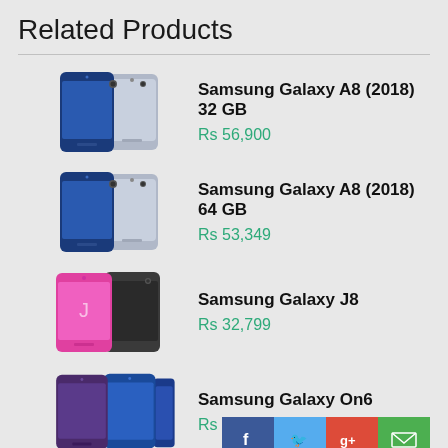Related Products
Samsung Galaxy A8 (2018) 32 GB — Rs 56,900
Samsung Galaxy A8 (2018) 64 GB — Rs 53,349
Samsung Galaxy J8 — Rs 32,799
Samsung Galaxy On6 — Rs 40,000